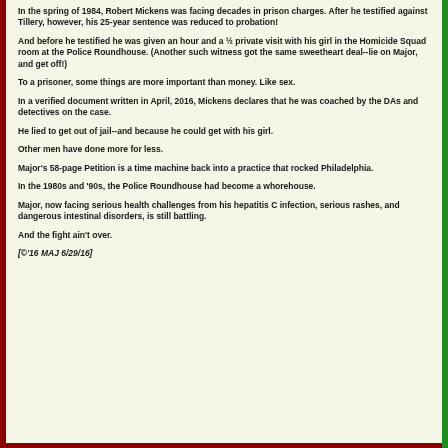In the spring of 1984, Robert Mickens was facing decades in prison charges. After he testified against Tillery, however, his 25-year sentence was reduced to probation!
And before he testified he was given an hour and a ½ private visit with his girl in the Homicide Squad room at the Police Roundhouse. (Another such witness got the same sweetheart deal--lie on Major, and get off!)
To a prisoner, some things are more important than money. Like sex.
In a verified document written in April, 2016, Mickens declares that he was coached by the DAs and detectives on the case.
He lied to get out of jail--and because he could get with his girl.
Other men have done more for less.
Major's 58-page Petition is a time machine back into a practice that rocked Philadelphia.
In the 1980s and '90s, the Police Roundhouse had become a whorehouse.
Major, now facing serious health challenges from his hepatitis C infection, serious rashes, and dangerous intestinal disorders, is still battling.
And the fight ain't over.
[©'16 MAJ  6/29/16]